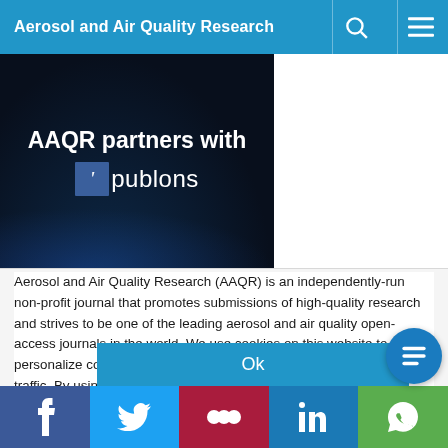Aerosol and Air Quality Research
[Figure (screenshot): Dark banner image showing 'AAQR partners with publons' text on a dark navy/black background with the Publons logo]
Aerosol and Air Quality Research (AAQR) is an independently-run non-profit journal that promotes submissions of high-quality research and strives to be one of the leading aerosol and air quality open-access journals in the world. We use cookies on this website to personalize content to improve your user experience and analyze our traffic. By using this site you agree to its use of cookies.